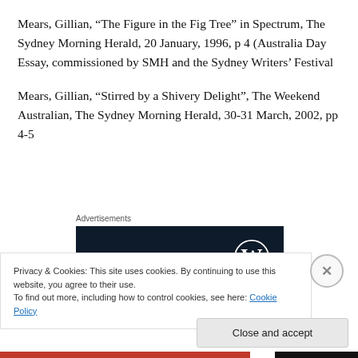Mears, Gillian, “The Figure in the Fig Tree” in Spectrum, The Sydney Morning Herald, 20 January, 1996, p 4 (Australia Day Essay, commissioned by SMH and the Sydney Writers’ Festival
Mears, Gillian, “Stirred by a Shivery Delight”, The Weekend Australian, The Sydney Morning Herald, 30-31 March, 2002, pp 4-5
Advertisements
[Figure (logo): WordPress logo on dark navy background advertisement box]
Privacy & Cookies: This site uses cookies. By continuing to use this website, you agree to their use.
To find out more, including how to control cookies, see here: Cookie Policy